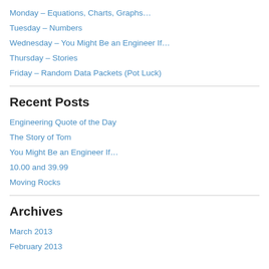Monday – Equations, Charts, Graphs…
Tuesday – Numbers
Wednesday – You Might Be an Engineer If…
Thursday – Stories
Friday – Random Data Packets (Pot Luck)
Recent Posts
Engineering Quote of the Day
The Story of Tom
You Might Be an Engineer If…
10.00 and 39.99
Moving Rocks
Archives
March 2013
February 2013